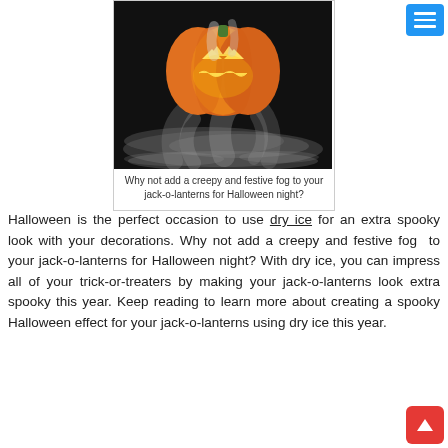[Figure (photo): A carved Halloween jack-o-lantern pumpkin emitting dry ice fog/smoke on a dark background. The pumpkin is orange and glowing from within, with white smoke billowing around its base.]
Why not add a creepy and festive fog to your jack-o-lanterns for Halloween night?
Halloween is the perfect occasion to use dry ice for an extra spooky look with your decorations. Why not add a creepy and festive fog  to your jack-o-lanterns for Halloween night? With dry ice, you can impress all of your trick-or-treaters by making your jack-o-lanterns look extra spooky this year. Keep reading to learn more about creating a spooky Halloween effect for your jack-o-lanterns using dry ice this year.